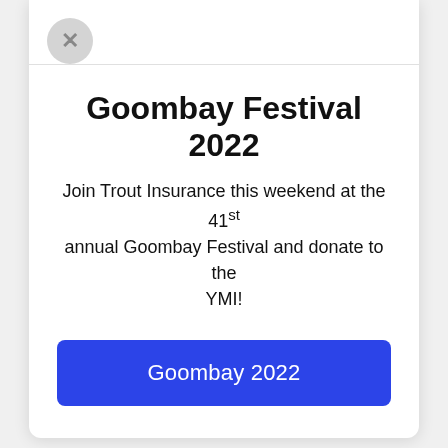Goombay Festival 2022
Join Trout Insurance this weekend at the 41st annual Goombay Festival and donate to the YMI!
Goombay 2022